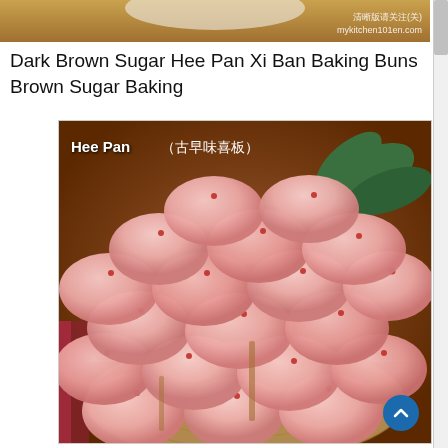[Figure (photo): Top portion of a previous recipe page showing a plate/bowl on a golden/brown background with watermark text 'mykitchen101en.com']
Dark Brown Sugar Hee Pan Xi Ban Baking Buns Brown Sugar Baking
[Figure (photo): Photo of pink steamed buns (Hee Pan / 古早味喜板) arranged in a bamboo basket. The buns are oval-shaped, pink in color, each with a small red dot on top. Green leaves visible in background. Label reads 'Hee Pan （古早味喜板）']